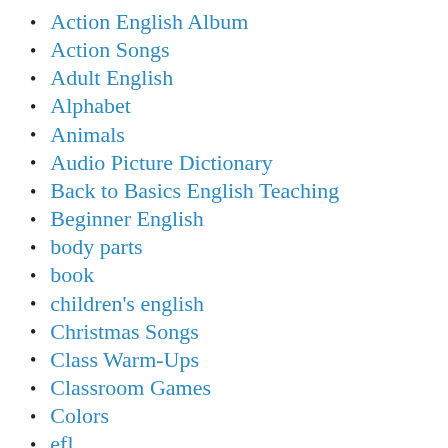Action English Album
Action Songs
Adult English
Alphabet
Animals
Audio Picture Dictionary
Back to Basics English Teaching
Beginner English
body parts
book
children's english
Christmas Songs
Class Warm-Ups
Classroom Games
Colors
efl